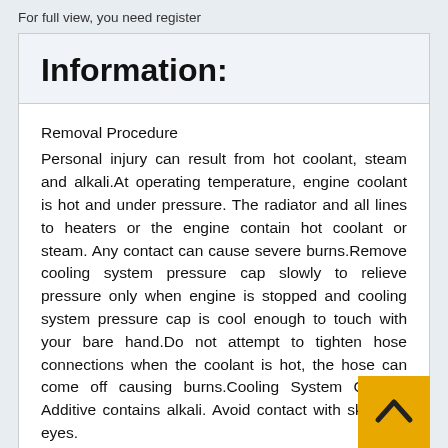For full view, you need register
Information:
Removal Procedure
Personal injury can result from hot coolant, steam and alkali.At operating temperature, engine coolant is hot and under pressure. The radiator and all lines to heaters or the engine contain hot coolant or steam. Any contact can cause severe burns.Remove cooling system pressure cap slowly to relieve pressure only when engine is stopped and cooling system pressure cap is cool enough to touch with your bare hand.Do not attempt to tighten hose connections when the coolant is hot, the hose can come off causing burns.Cooling System Coolant Additive contains alkali. Avoid contact with skin and eyes.
Keep all parts clean from contaminants.Contaminants may cause rapid wear and shortened component life.
Care must be taken to ensure that fluids are contained during